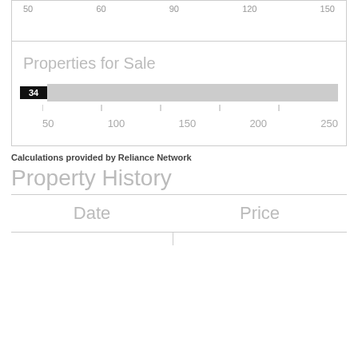[Figure (bar-chart): Properties for Sale]
Calculations provided by Reliance Network
Property History
| Date | Price |
| --- | --- |